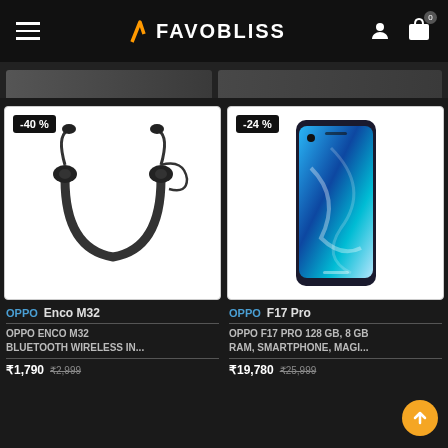FAVOBLISS
[Figure (photo): OPPO Enco M32 Bluetooth wireless neckband earphones on white background, discount badge -40%]
[Figure (photo): OPPO F17 Pro smartphone with blue gradient display on white background, discount badge -24%]
OPPO  Enco M32
OPPO ENCO M32 BLUETOOTH WIRELESS IN...
₹1,790  ₹2,999
OPPO  F17 Pro
OPPO F17 PRO 128 GB, 8 GB RAM, SMARTPHONE, MAGI...
₹19,780  ₹25,999